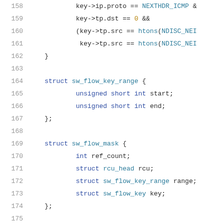[Figure (screenshot): Source code listing showing C struct definitions for sw_flow_key_range, sw_flow_mask, and sw_flow_match, with line numbers 158-178 visible.]